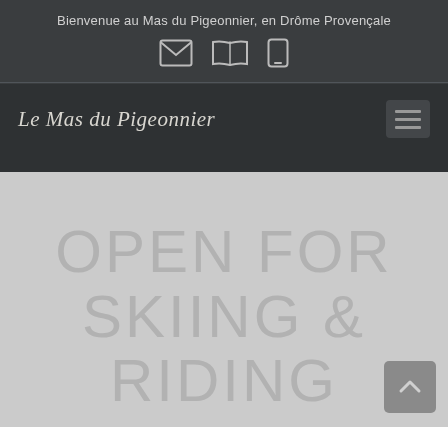Bienvenue au Mas du Pigeonnier, en Drôme Provençale
[Figure (illustration): Three outline icons: envelope (email), open book/map, and mobile phone, centered in a row on dark background]
Le Mas du Pigeonnier
[Figure (illustration): Hamburger menu icon (three horizontal lines) on dark rounded rectangle background]
OPEN FOR SKIING & RIDING
[Figure (illustration): Back-to-top button: dark gray rounded square with upward-pointing chevron arrow]